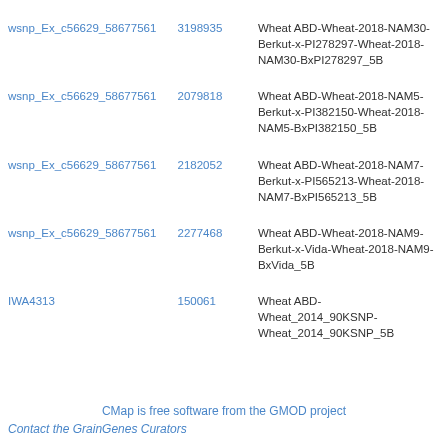| SNP | Position | Map |
| --- | --- | --- |
| wsnp_Ex_c56629_58677561 | 3198935 | Wheat ABD-Wheat-2018-NAM30-Berkut-x-PI278297-Wheat-2018-NAM30-BxPI278297_5B |
| wsnp_Ex_c56629_58677561 | 2079818 | Wheat ABD-Wheat-2018-NAM5-Berkut-x-PI382150-Wheat-2018-NAM5-BxPI382150_5B |
| wsnp_Ex_c56629_58677561 | 2182052 | Wheat ABD-Wheat-2018-NAM7-Berkut-x-PI565213-Wheat-2018-NAM7-BxPI565213_5B |
| wsnp_Ex_c56629_58677561 | 2277468 | Wheat ABD-Wheat-2018-NAM9-Berkut-x-Vida-Wheat-2018-NAM9-BxVida_5B |
| IWA4313 | 150061 | Wheat ABD-Wheat_2014_90KSNP-Wheat_2014_90KSNP_5B |
CMap is free software from the GMOD project
Contact the GrainGenes Curators